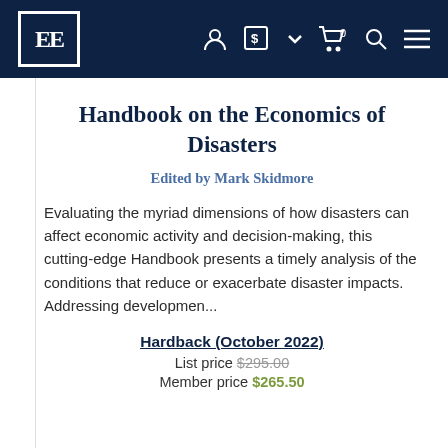EE [logo] navigation bar with user, currency, cart, search, menu icons
Handbook on the Economics of Disasters
Edited by Mark Skidmore
Evaluating the myriad dimensions of how disasters can affect economic activity and decision-making, this cutting-edge Handbook presents a timely analysis of the conditions that reduce or exacerbate disaster impacts. Addressing developmen...
Hardback (October 2022)
List price $295.00
Member price $265.50